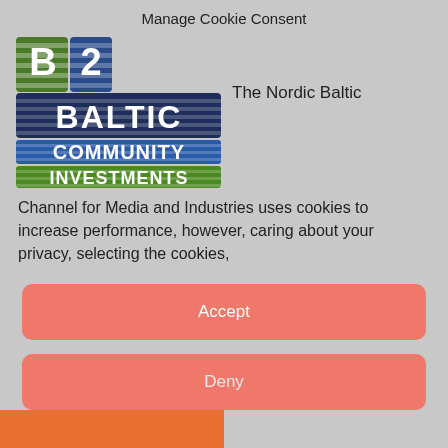Manage Cookie Consent
[Figure (logo): B2B Baltic Community Investments logo — stylized text logo with B2B in blue/green stripes, BALTIC in navy stripes, COMMUNITY in blue stripes, INVESTMENTS in green stripes]
The Nordic Baltic Channel for Media and Industries uses cookies to increase performance, however, caring about your privacy, selecting the cookies,
Accept
Deny
Preferences